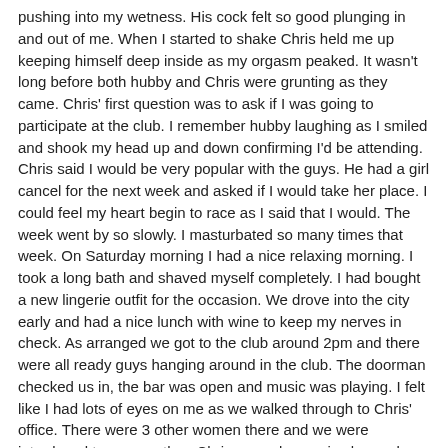pushing into my wetness. His cock felt so good plunging in and out of me. When I started to shake Chris held me up keeping himself deep inside as my orgasm peaked. It wasn't long before both hubby and Chris were grunting as they came. Chris' first question was to ask if I was going to participate at the club. I remember hubby laughing as I smiled and shook my head up and down confirming I'd be attending. Chris said I would be very popular with the guys. He had a girl cancel for the next week and asked if I would take her place. I could feel my heart begin to race as I said that I would. The week went by so slowly. I masturbated so many times that week. On Saturday morning I had a nice relaxing morning. I took a long bath and shaved myself completely. I had bought a new lingerie outfit for the occasion. We drove into the city early and had a nice lunch with wine to keep my nerves in check. As arranged we got to the club around 2pm and there were all ready guys hanging around in the club. The doorman checked us in, the bar was open and music was playing. I felt like I had lots of eyes on me as we walked through to Chris' office. There were 3 other women there and we were introduced to one another. Chris poured us a nice large glass of wine and we sat around chatting. A young blonde woman arrived and Chris declared that everyone was here. He looked out the door into the club and said it was a good crowd. He then lead all of us to a change room down the hall. Hubby was told to go ahead out into the club. I was shaking as I striped my clothes off and changed into my lingerie. I picked a white lace teddy that was